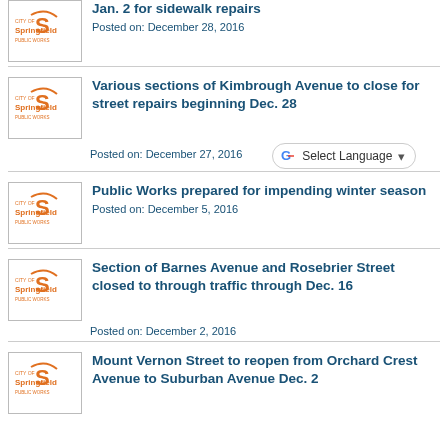[Figure (logo): City of Springfield Public Works logo]
Jan. 2 for sidewalk repairs
Posted on: December 28, 2016
[Figure (logo): City of Springfield Public Works logo]
Various sections of Kimbrough Avenue to close for street repairs beginning Dec. 28
Posted on: December 27, 2016
[Figure (logo): City of Springfield Public Works logo]
Public Works prepared for impending winter season
Posted on: December 5, 2016
[Figure (logo): City of Springfield Public Works logo]
Section of Barnes Avenue and Rosebrier Street closed to through traffic through Dec. 16
Posted on: December 2, 2016
[Figure (logo): City of Springfield Public Works logo]
Mount Vernon Street to reopen from Orchard Crest Avenue to Suburban Avenue Dec. 2